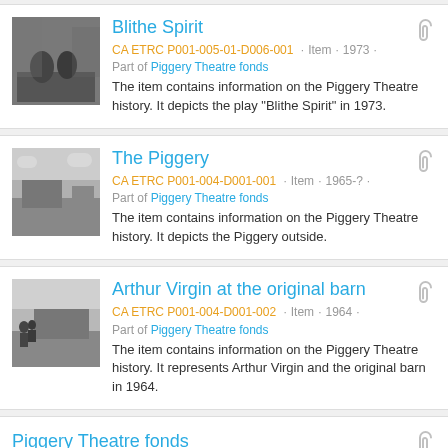Blithe Spirit
CA ETRC P001-005-01-D006-001 · Item · 1973 ·
Part of Piggery Theatre fonds
The item contains information on the Piggery Theatre history. It depicts the play "Blithe Spirit" in 1973.
The Piggery
CA ETRC P001-004-D001-001 · Item · 1965-? ·
Part of Piggery Theatre fonds
The item contains information on the Piggery Theatre history. It depicts the Piggery outside.
Arthur Virgin at the original barn
CA ETRC P001-004-D001-002 · Item · 1964 ·
Part of Piggery Theatre fonds
The item contains information on the Piggery Theatre history. It represents Arthur Virgin and the original barn in 1964.
Piggery Theatre fonds